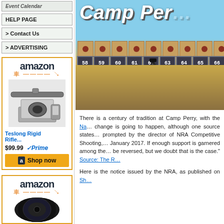Event Calendar
HELP PAGE
> Contact Us
> ADVERTISING
[Figure (photo): Amazon advertisement for Teslong Rigid Rifle product, $99.99 with Prime, Shop now button]
[Figure (photo): Camp Perry shooting range photo showing numbered target stands (58-69) across a field with blue sky, with the title 'Camp Per...' at top]
There is a century of tradition at Camp Perry, with the Na... change is going to happen, although one source states... prompted by the director of NRA Competitive Shooting,... January 2017. If enough support is garnered among the... be reversed, but we doubt that is the case." Source: The R...
Here is the notice issued by the NRA, as published on Sh...
[Figure (photo): Second Amazon advertisement, partially visible, showing a dark circular product]